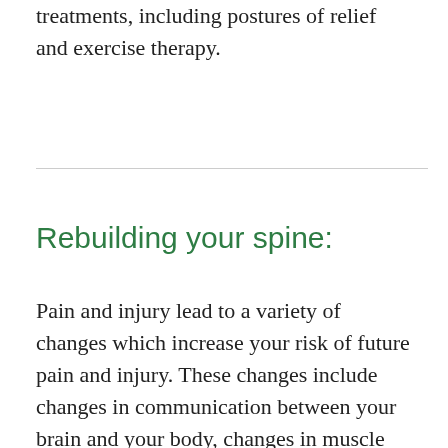treatments, including postures of relief and exercise therapy.
Rebuilding your spine:
Pain and injury lead to a variety of changes which increase your risk of future pain and injury. These changes include changes in communication between your brain and your body, changes in muscle coordination, and